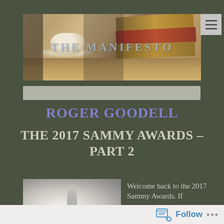[Figure (photo): Blog header banner showing a coffee cup on a table with stacked books in the background. Text overlay reads 'THE MANIFESTO' in faded light blue letters.]
THE MANIFESTO
ROGER GOODELL
THE 2017 SAMMY AWARDS – PART 2
[Figure (photo): Thumbnail image showing a glass or crystal award figurine on a white background.]
Welcome back to the 2017 Sammy Awards. If
Follow ...